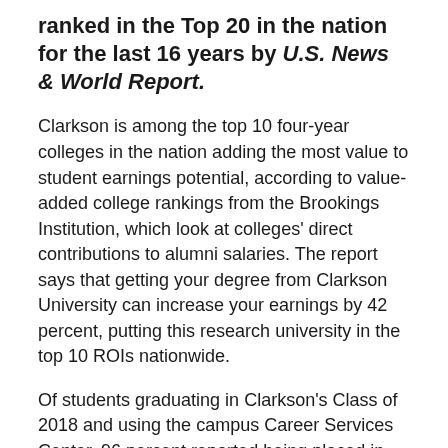ranked in the Top 20 in the nation for the last 16 years by U.S. News & World Report.
Clarkson is among the top 10 four-year colleges in the nation adding the most value to student earnings potential, according to value-added college rankings from the Brookings Institution, which look at colleges' direct contributions to alumni salaries. The report says that getting your degree from Clarkson University can increase your earnings by 42 percent, putting this research university in the top 10 ROIs nationwide.
Of students graduating in Clarkson's Class of 2018 and using the campus Career Services Center, 96 percent reported being placed in their chosen field of study in the first year after graduation and putting them on a path for accelerated career